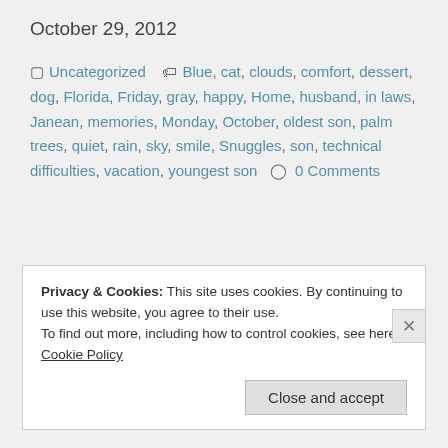October 29, 2012
Uncategorized   Blue, cat, clouds, comfort, dessert, dog, Florida, Friday, gray, happy, Home, husband, in laws, Janean, memories, Monday, October, oldest son, palm trees, quiet, rain, sky, smile, Snuggles, son, technical difficulties, vacation, youngest son   0 Comments
Privacy & Cookies: This site uses cookies. By continuing to use this website, you agree to their use.
To find out more, including how to control cookies, see here: Cookie Policy
Close and accept